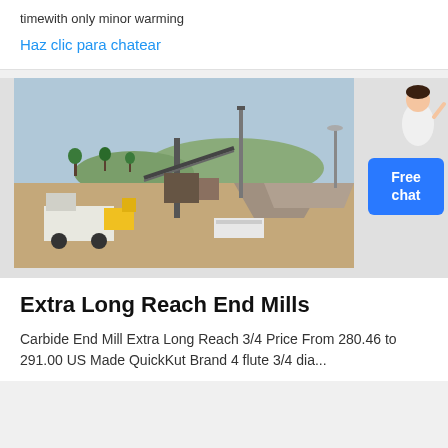timewith only minor warming
Haz clic para chatear
[Figure (photo): Outdoor mining or quarry site with heavy machinery, conveyor belts, trucks, and piles of aggregate material under a clear sky with hills in the background.]
Extra Long Reach End Mills
Carbide End Mill Extra Long Reach 3/4 Price From 280.46 to 291.00 US Made QuickKut Brand 4 flute 3/4 dia...